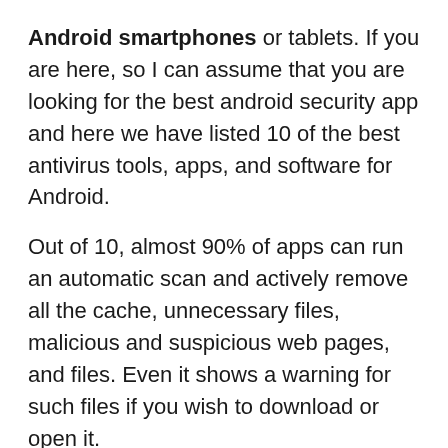Android smartphones or tablets. If you are here, so I can assume that you are looking for the best android security app and here we have listed 10 of the best antivirus tools, apps, and software for Android.
Out of 10, almost 90% of apps can run an automatic scan and actively remove all the cache, unnecessary files, malicious and suspicious web pages, and files. Even it shows a warning for such files if you wish to download or open it.
1. Avast Mobile Security